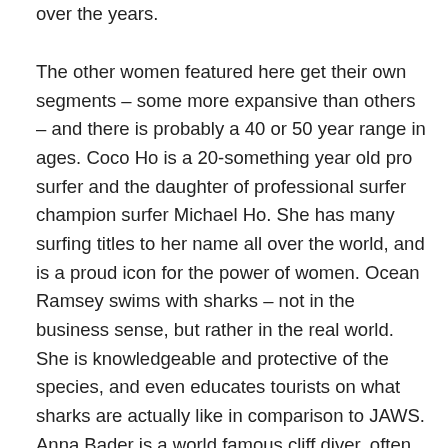over the years.
The other women featured here get their own segments – some more expansive than others – and there is probably a 40 or 50 year range in ages. Coco Ho is a 20-something year old pro surfer and the daughter of professional surfer champion surfer Michael Ho. She has many surfing titles to her name all over the world, and is a proud icon for the power of women. Ocean Ramsey swims with sharks – not in the business sense, but rather in the real world. She is knowledgeable and protective of the species, and even educates tourists on what sharks are actually like in comparison to JAWS. Anna Bader is a world famous cliff diver, often executing dives from 24+ meters. She hails from Germany and is the daughter of an Olympic gymnast. Ms. Bader thrives on independence, and she opens up about how her life perspective changed when she got